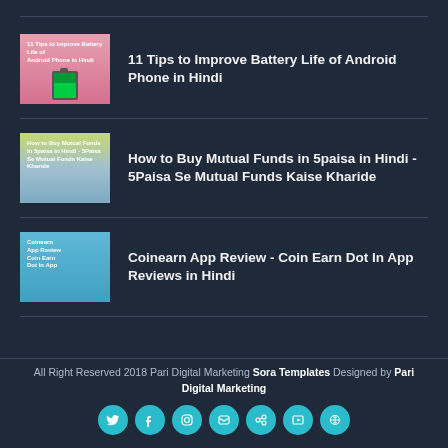11 Tips to Improve Battery Life of Android Phone in Hindi
How to Buy Mutual Funds in 5paisa in Hindi - 5Paisa Se Mutual Funds Kaise Kharide
Coinearn App Review - Coin Earn Dot In App Reviews in Hindi
All Right Reserved 2018 Pari Digital Marketing Sora Templates Designed by Pari Digital Marketing